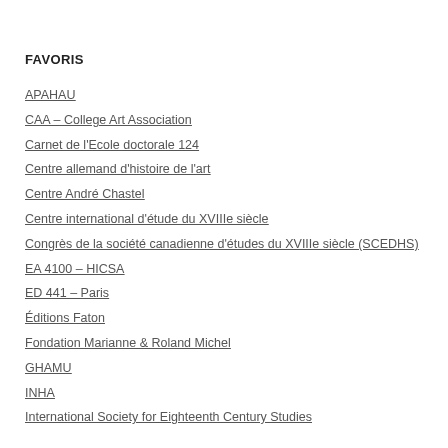FAVORIS
APAHAU
CAA – College Art Association
Carnet de l'Ecole doctorale 124
Centre allemand d'histoire de l'art
Centre André Chastel
Centre international d'étude du XVIIIe siècle
Congrès de la société canadienne d'études du XVIIIe siècle (SCEDHS)
EA 4100 – HICSA
ED 441 – Paris
Éditions Faton
Fondation Marianne & Roland Michel
GHAMU
INHA
International Society for Eighteenth Century Studies